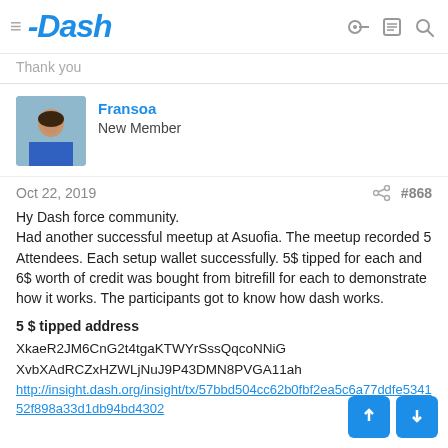Dash
Thank you
Fransoa
New Member
Oct 22, 2019  #868
Hy Dash force community.
Had another successful meetup at Asuofia. The meetup recorded 5 Attendees. Each setup wallet successfully. 5$ tipped for each and 6$ worth of credit was bought from bitrefill for each to demonstrate how it works. The participants got to know how dash works.
5 $ tipped address
XkaeR2JM6CnG2t4tgaKTWYrSssQqcoNNiG
XvbXAdRCZxHZWLjNuJ9P43DMN8PVGA11ah
http://insight.dash.org/insight/tx/57bbd504cc62b0fbf2ea5...1c6a77ddfe534152f898a33d1db94bd4302